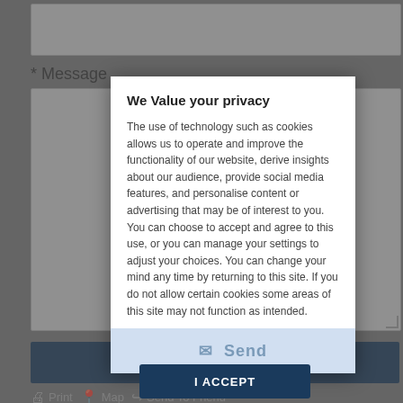* Message
[Figure (screenshot): Web form with a textarea for message input and a Send button, partially obscured by a privacy consent modal dialog. The modal contains the heading 'We Value your privacy' and a paragraph about cookie usage, with an 'I ACCEPT' button at the bottom.]
We Value your privacy
The use of technology such as cookies allows us to operate and improve the functionality of our website, derive insights about our audience, provide social media features, and personalise content or advertising that may be of interest to you. You can choose to accept and agree to this use, or you can manage your settings to adjust your choices. You can change your mind any time by returning to this site. If you do not allow certain cookies some areas of this site may not function as intended.
✉ Send
I ACCEPT
🖨 Print  📍 Map  ↪ Send To Friend